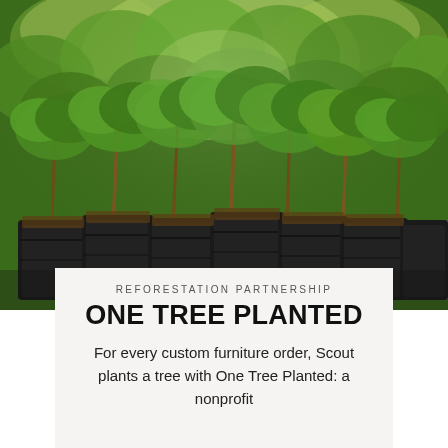[Figure (photo): Young tree seedlings planted in black plastic grow bags, arranged in rows, photographed against a lush green forest background with sunlight filtering through.]
REFORESTATION PARTNERSHIP
ONE TREE PLANTED
For every custom furniture order, Scout plants a tree with One Tree Planted: a nonprofit dedicated to global reforestation.